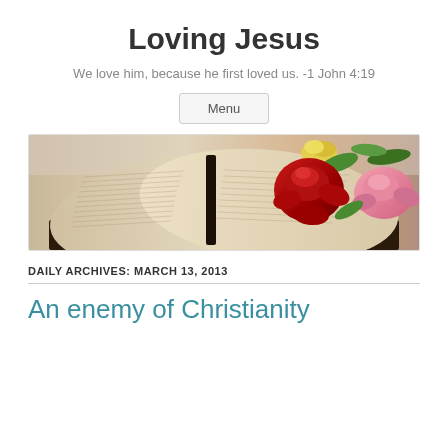Loving Jesus
We love him, because he first loved us. -1 John 4:19
Menu
[Figure (photo): Open Bible with red, pink, and yellow roses resting on it, placed on a dark surface with soft background]
DAILY ARCHIVES: MARCH 13, 2013
An enemy of Christianity